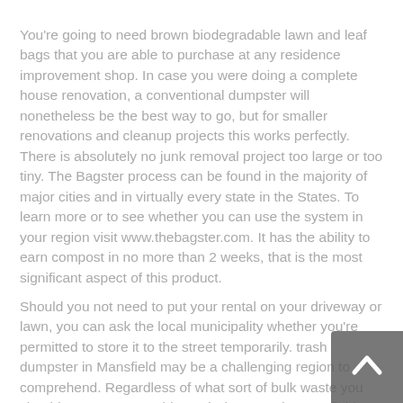You're going to need brown biodegradable lawn and leaf bags that you are able to purchase at any residence improvement shop. In case you were doing a complete house renovation, a conventional dumpster will nonetheless be the best way to go, but for smaller renovations and cleanup projects this works perfectly. There is absolutely no junk removal project too large or too tiny. The Bagster process can be found in the majority of major cities and in virtually every state in the States. To learn more or to see whether you can use the system in your region visit www.thebagster.com. It has the ability to earn compost in no more than 2 weeks, that is the most significant aspect of this product.
Should you not need to put your rental on your driveway or lawn, you can ask the local municipality whether you're permitted to store it to the street temporarily. trash dumpster in Mansfield may be a challenging region to comprehend. Regardless of what sort of bulk waste you should remove, a portable trash dumpster in Mansfield can manage the job. It would be a terrific car to restore